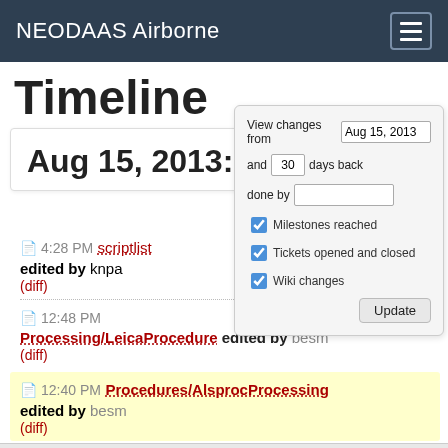NEODAAS Airborne
Timeline
Aug 15, 2013:
View changes from Aug 15, 2013 and 30 days back done by  Milestones reached Tickets opened and closed Wiki changes Update
4:28 PM scriptlist edited by knpa (diff)
12:48 PM Processing/LeicaProcedure edited by besm (diff)
12:40 PM Procedures/AlsprocProcessing edited by besm (diff)